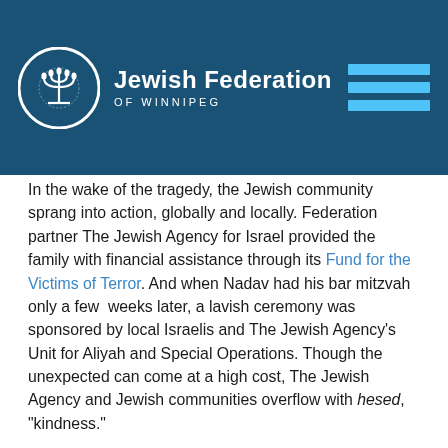Jewish Federation OF WINNIPEG
In the wake of the tragedy, the Jewish community sprang into action, globally and locally. Federation partner The Jewish Agency for Israel provided the family with financial assistance through its Fund for the Victims of Terror. And when Nadav had his bar mitzvah only a few weeks later, a lavish ceremony was sponsored by local Israelis and The Jewish Agency’s Unit for Aliyah and Special Operations. Though the unexpected can come at a high cost, The Jewish Agency and Jewish communities overflow with hesed, “kindness.”
So while Nadav’s body may still have a long road to recovery, his spirit remains resilient. “Thank you for the wonderful gift,” he said of his bar mitzvah celebration and the support from The Jewish Agency. “I hope that soon I will get a chance to meet [those responsible] to thank them personally.”